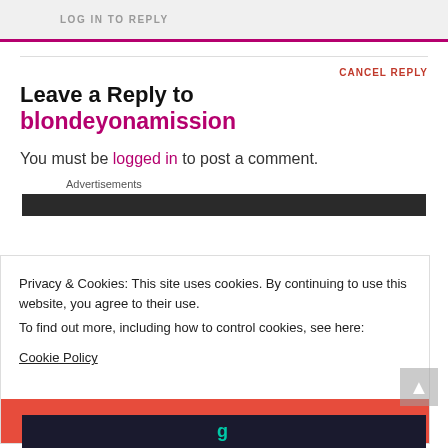LOG IN TO REPLY
Leave a Reply to blondeyonamission
CANCEL REPLY
You must be logged in to post a comment.
Advertisements
Privacy & Cookies: This site uses cookies. By continuing to use this website, you agree to their use.
To find out more, including how to control cookies, see here:
Cookie Policy
CLOSE AND ACCEPT